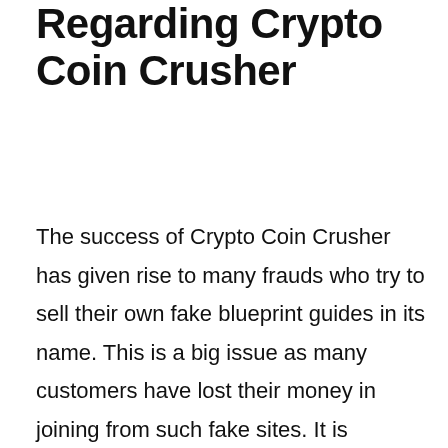Regarding Crypto Coin Crusher
The success of Crypto Coin Crusher has given rise to many frauds who try to sell their own fake blueprint guides in its name. This is a big issue as many customers have lost their money in joining from such fake sites. It is advised that customers should be really careful when they are purchasing and should do some research before they join from any